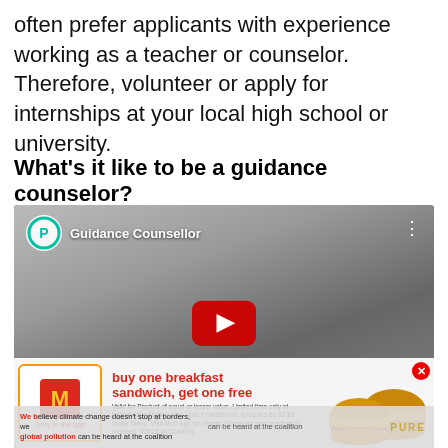often prefer applicants with experience working as a teacher or counselor. Therefore, volunteer or apply for internships at your local high school or university.
What's it like to be a guidance counselor?
[Figure (screenshot): YouTube video thumbnail showing a black-and-white close-up of a man's face with the title 'Guidance Counsellor' and a YouTube play button overlay, with a McDonald's advertisement banner overlaid at the bottom.]